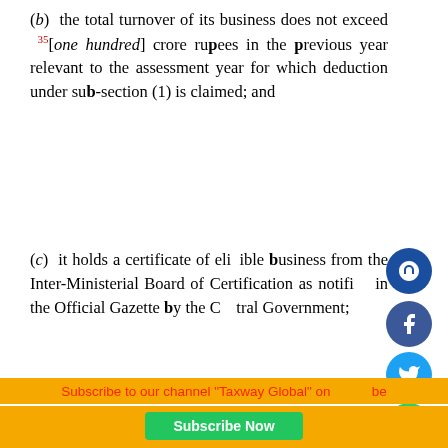(b) the total turnover of its business does not exceed 35[one hundred] crore rupees in the previous year relevant to the assessment year for which deduction under sub-section (1) is claimed; and
(c) it holds a certificate of eligible business from the Inter-Ministerial Board of Certification as notified in the Official Gazette by the Central Government;
(iii) "limited liability partnership" means a partnership referred to in clause (n) of sub-section (1) of section 2 of the Limited Liability Partnership Act, 2008 (6 o...
Subscribe to our channel "Taxway Global" on YouTube